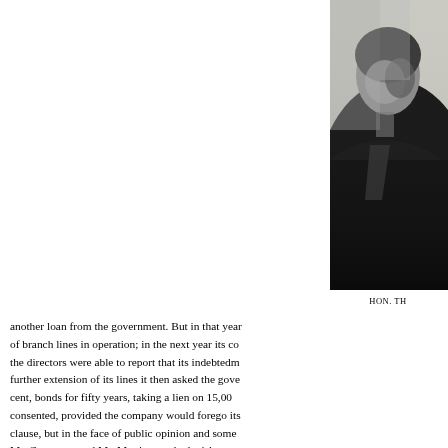[Figure (photo): Black and white portrait photograph of a person, partially visible on the right side of the page. The figure appears to be wearing dark clothing. Only the right portion of the image is visible.]
HON. TH
another loan from the government. But in that year of branch lines in operation; in the next year its co the directors were able to report that its indebtedm further extension of its lines it then asked the gove cent, bonds for fifty years, taking a lien on 15,00 consented, provided the company would forego its clause, but in the face of public opinion and some Mr. Greenway and Mr. Martin met the legislatur Manitoba and the North "West had ceased. The